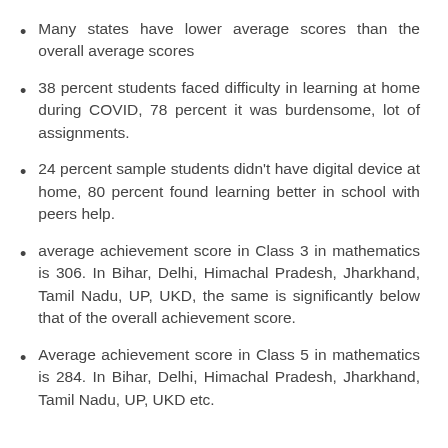Many states have lower average scores than the overall average scores
38 percent students faced difficulty in learning at home during COVID, 78 percent it was burdensome, lot of assignments.
24 percent sample students didn't have digital device at home, 80 percent found learning better in school with peers help.
average achievement score in Class 3 in mathematics is 306. In Bihar, Delhi, Himachal Pradesh, Jharkhand, Tamil Nadu, UP, UKD, the same is significantly below that of the overall achievement score.
Average achievement score in Class 5 in mathematics is 284. In Bihar, Delhi, Himachal Pradesh, Jharkhand, Tamil Nadu, UP, UKD etc.